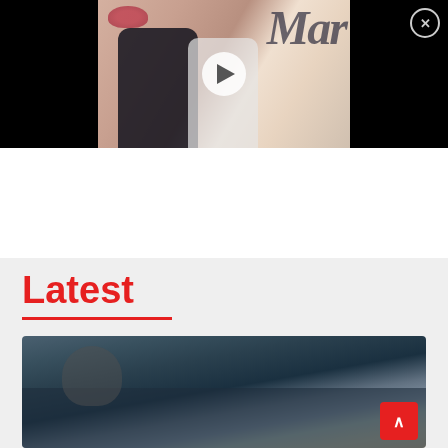[Figure (photo): Video thumbnail showing a couple (man in dark suit, woman in white outfit) posing in front of a magazine backdrop with cursive text. A play button overlay is centered on the thumbnail. Video is embedded in a black bar spanning the full width. A close (X) button is in the top right corner.]
[Figure (photo): Photo of a man with grey/dark hair reclining on a dark leather couch or cushion, eyes closed. Partial view of another person visible on the right side. Photo is cropped at bottom of page.]
Latest